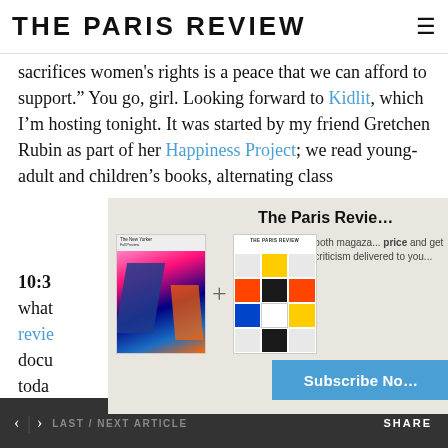THE PARIS REVIEW
sacrifices women's rights is a peace that we can afford to support.” You go, girl. Looking forward to Kidlit, which I’m hosting tonight. It was started by my friend Gretchen Rubin as part of her Happiness Project; we read young-adult and children’s books, alternating class
10:3
what
review
docu
today
Flau
faith
[Figure (infographic): The Paris Review subscription modal overlay showing two magazine covers (The New Yorker and The Paris Review) joined by a plus sign, with text 'The Paris Review' as heading, 'Subscribe to both magazines at a special price and get a year of great fiction, poetry, and criticism delivered to your...', and a 'Subscribe No...' button in blue.]
must constantly refresh its own terms. In this light, the
< > LAST / NEXT ARTICLE    SHARE